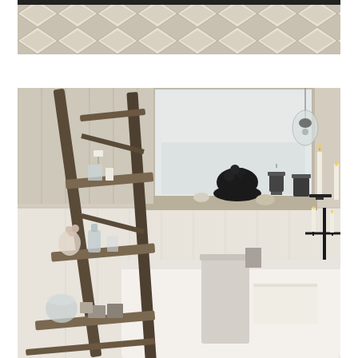[Figure (photo): Close-up of a decorative tile or wallpaper pattern with geometric diamond/chevron shapes in neutral cream and grey tones.]
[Figure (photo): Interior bathroom scene in a rustic/shabby chic style. A weathered wooden ladder shelf leans against a white beadboard wall, holding various decorative items including candles, glassware, small bottles, a soap dispenser, floral decoration, and small boxes. In the background, a window sill holds a dark bowl of fruit, decorative lanterns, shells, and candles. A white bathtub is visible with a linen towel draped over it. A tall black iron candelabra with a lit white candle stands to the right. A hanging glass pendant light is visible near the window. The overall palette is neutral — cream, white, grey, and dark brown.]